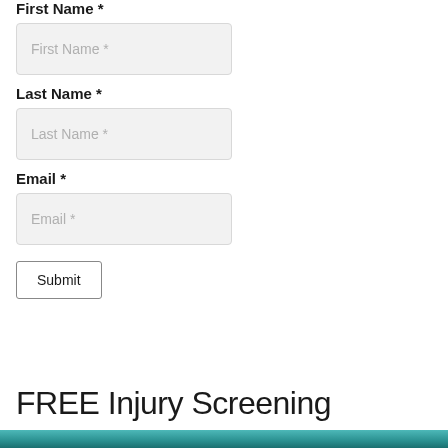First Name *
First Name *
Last Name *
Last Name *
Email *
Email *
Submit
FREE Injury Screening
[Figure (photo): Bottom edge of a teal/cyan colored banner or header image, partially visible at the bottom of the page]